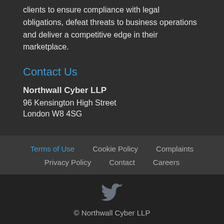clients to ensure compliance with legal obligations, defeat threats to business operations and deliver a competitive edge in their marketplace.
Contact Us
Northwall Cyber LLP
96 Kensington High Street
London W8 4SG
Terms of Use   Cookie Policy   Complaints
Privacy Policy   Contact   Careers
© Northwall Cyber LLP